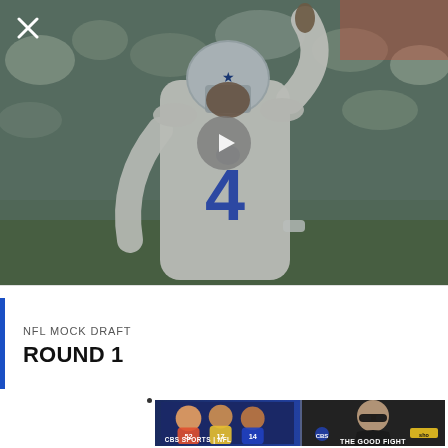[Figure (photo): Dallas Cowboys quarterback wearing number 4 jersey, pointing finger upward in celebration, wearing white uniform and silver helmet, with blurred stadium crowd in background. A video play button overlay is visible in the center. A close/X button is in the top left corner.]
NFL MOCK DRAFT
ROUND 1
[Figure (screenshot): Advertisement banner split into two parts: left side shows CBS Sports NFL with football players, right side shows 'The Good Fight' TV show with a woman in sunglasses.]